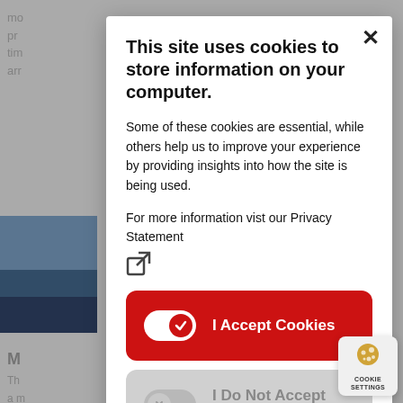This site uses cookies to store information on your computer.
Some of these cookies are essential, while others help us to improve your experience by providing insights into how the site is being used.
For more information vist our Privacy Statement
[Figure (screenshot): Cookie consent modal dialog with two buttons: 'I Accept Cookies' (red, toggle on) and 'I Do Not Accept Cookies' (gray, toggle off), plus a close X button and external link icon.]